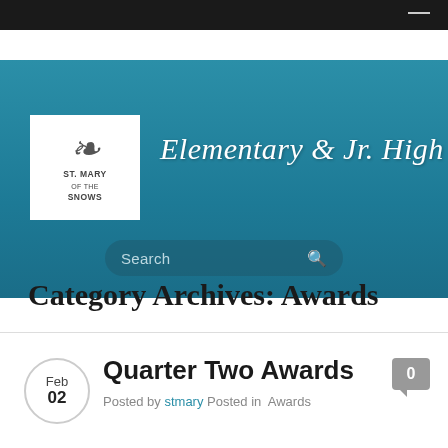[Figure (logo): St. Mary of the Snows Elementary & Jr. High school logo and header banner with teal background and search bar]
Category Archives: Awards
Quarter Two Awards
Posted by stmary Posted in Awards